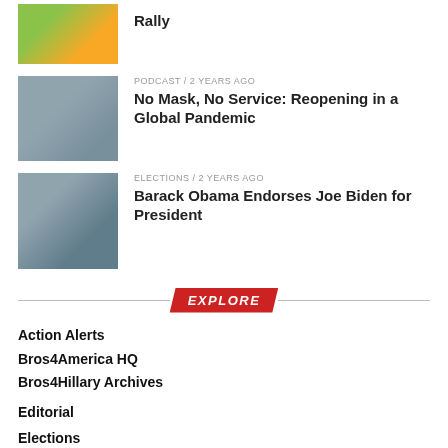[Figure (photo): Partial article thumbnail and title at top - Rally article]
Rally
[Figure (photo): People wearing masks standing outside]
PODCAST / 2 years ago
No Mask, No Service: Reopening in a Global Pandemic
[Figure (photo): Barack Obama and Joe Biden at podium]
ELECTIONS / 2 years ago
Barack Obama Endorses Joe Biden for President
EXPLORE
Action Alerts
Bros4America HQ
Bros4Hillary Archives
Editorial
Elections
Events